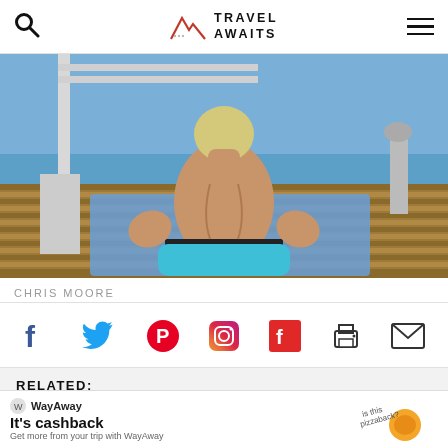Travel Awaits
[Figure (photo): Person seen from behind doing yoga or meditation pose on a blue mat on a ship deck, ocean visible in background, wearing teal/cyan shorts, back muscles visible]
CHRIS MOORE
[Figure (infographic): Social media sharing icons row: Facebook, Twitter, Pinterest, Instagram, Flipboard, Print, Email]
RELATED:
NATURISM
TYPES OF TRAVEL
[Figure (infographic): WayAway advertisement banner: 'It's cashback - Get more from your trip with WayAway' with pizza illustration and 'is this pizzaback?' text, close X button]